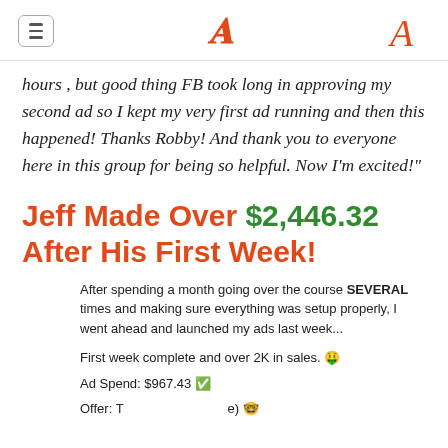navigation menu | logo A
hours , but good thing FB took long in approving my second ad so I kept my very first ad running and then this happened! Thanks Robby! And thank you to everyone here in this group for being so helpful. Now I'm excited!"
Jeff Made Over $2,446.32 After His First Week!
After spending a month going over the course SEVERAL times and making sure everything was setup properly, I went ahead and launched my ads last week...

First week complete and over 2K in sales. 🤑

Ad Spend: $967.43 ✅

Offer: To [redacted] e) 🤓